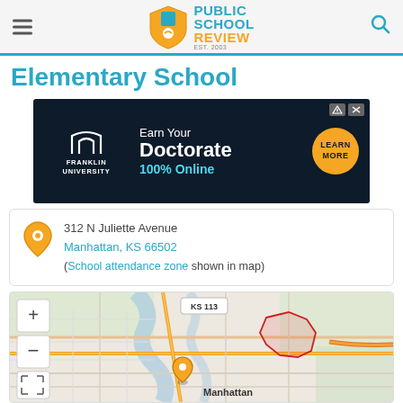Public School Review
Elementary School
[Figure (screenshot): Franklin University advertisement: Earn Your Doctorate 100% Online - Learn More]
312 N Juliette Avenue
Manhattan, KS 66502
(School attendance zone shown in map)
[Figure (map): Map of Manhattan, KS showing school location at 312 N Juliette Avenue with attendance zone highlighted in red. KS 113 label visible. Map controls include zoom in (+), zoom out (-), and fullscreen buttons.]